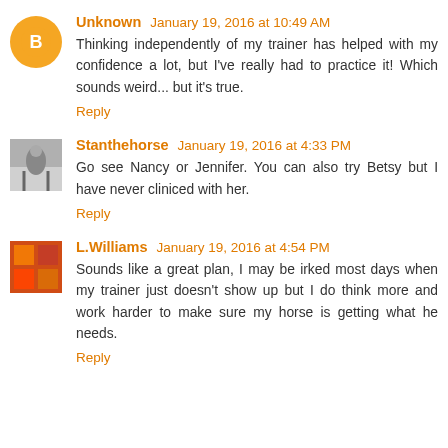Unknown January 19, 2016 at 10:49 AM
Thinking independently of my trainer has helped with my confidence a lot, but I've really had to practice it! Which sounds weird... but it's true.
Reply
Stanthehorse January 19, 2016 at 4:33 PM
Go see Nancy or Jennifer. You can also try Betsy but I have never cliniced with her.
Reply
L.Williams January 19, 2016 at 4:54 PM
Sounds like a great plan, I may be irked most days when my trainer just doesn't show up but I do think more and work harder to make sure my horse is getting what he needs.
Reply